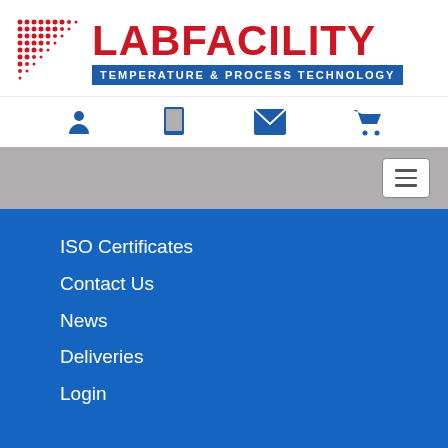[Figure (logo): Labfacility logo with red dot grid pattern on left, red LABFACILITY text, and blue banner reading TEMPERATURE & PROCESS TECHNOLOGY]
[Figure (infographic): Navigation icon bar with four blue icons: person/account, tablet/mobile, envelope/email, shopping cart]
[Figure (infographic): Gray navigation bar with hamburger menu button on the right]
ISO Certificates
Contact Us
News
Deliveries
Login
Cookie Statement
Distribution Opportunities
Terms & Conditions